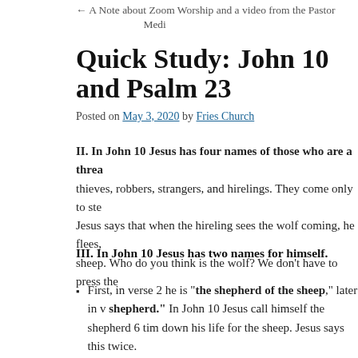← A Note about Zoom Worship and a video from the Pastor    Medi
Quick Study: John 10 and Psalm 23
Posted on May 3, 2020 by Fries Church
II. In John 10 Jesus has four names of those who are a threa thieves, robbers, strangers, and hirelings. They come only to ste Jesus says that when the hireling sees the wolf coming, he flees, sheep. Who do you think is the wolf? We don't have to press the
III. In John 10 Jesus has two names for himself.
First, in verse 2 he is "the shepherd of the sheep," later in v shepherd." In John 10 Jesus call himself the shepherd 6 tim down his life for the sheep. Jesus says this twice.
Second, in verse 7 Jesus says he is "the door of the sheep." if any one enters by me, he will be saved, and will go in and